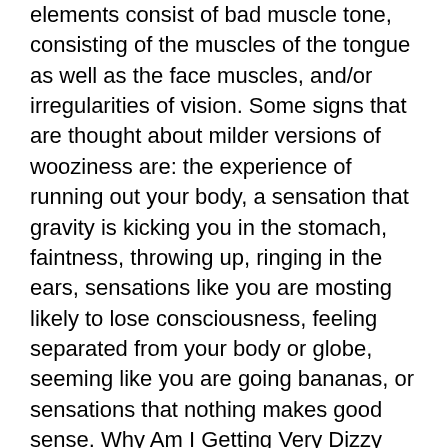elements consist of bad muscle tone, consisting of the muscles of the tongue as well as the face muscles, and/or irregularities of vision. Some signs that are thought about milder versions of wooziness are: the experience of running out your body, a sensation that gravity is kicking you in the stomach, faintness, throwing up, ringing in the ears, sensations like you are mosting likely to lose consciousness, feeling separated from your body or globe, seeming like you are going bananas, or sensations that nothing makes good sense. Why Am I Getting Very Dizzy When Uoside Down
vertigo is generally treated by several of the complying with therapy options. Depending upon your symptoms and also the severity of